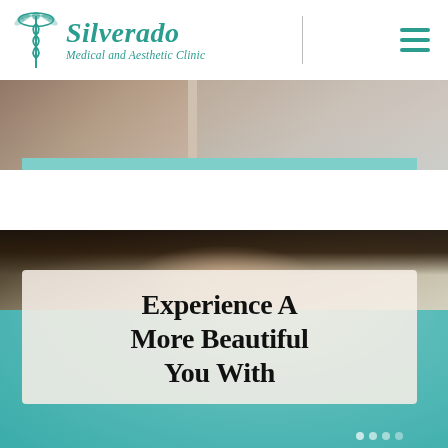[Figure (logo): Silverado Medical and Aesthetic Clinic logo with caduceus symbol and teal italic text]
[Figure (photo): Cropped photograph strip showing a patient or model, with a teal bottom bar accent]
[Figure (photo): Hero section background photo showing close-up of a woman's face/forehead with dark hair against teal background]
Experience A More Beautiful You With